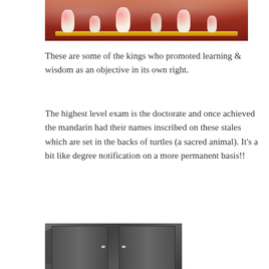[Figure (photo): Photo of decorative ceramic vases and items displayed on a red lacquered shelf/altar with gold trim, in what appears to be a Vietnamese temple or museum setting.]
These are some of the kings who promoted learning & wisdom as an objective in its own right.
The highest level exam is the doctorate and once achieved the mandarin had their names inscribed on these stales which are set in the backs of turtles (a sacred animal). It’s a bit like degree notification on a more permanent basis!!
[Figure (photo): Photo of dark wooden doors or panels, partially visible, appearing to be part of a historic Vietnamese structure.]